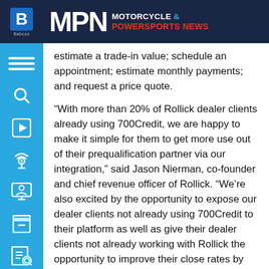MPN MOTORCYCLE & POWERSPORTS NEWS
estimate a trade-in value; schedule an appointment; estimate monthly payments; and request a price quote.
“With more than 20% of Rollick dealer clients already using 700Credit, we are happy to make it simple for them to get more use out of their prequalification partner via our integration,” said Jason Nierman, co-founder and chief revenue officer of Rollick. “We’re also excited by the opportunity to expose our dealer clients not already using 700Credit to their platform as well as give their dealer clients not already working with Rollick the opportunity to improve their close rates by over 50% through our RollickDR solution. This is part of an overall effort to